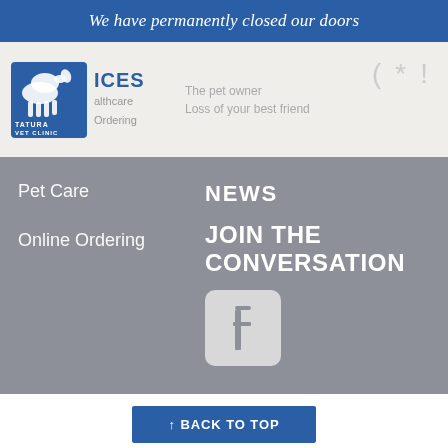We have permanently closed our doors
[Figure (logo): Tatura Vet Clinic logo with horse silhouette and blue text]
ICES
althcare
Ordering
The pet owner
Loss of your best friend
Pet Care
Online Ordering
NEWS
JOIN THE CONVERSATION
[Figure (logo): Facebook icon - white f on light gray rounded square background]
↑ BACK TO TOP